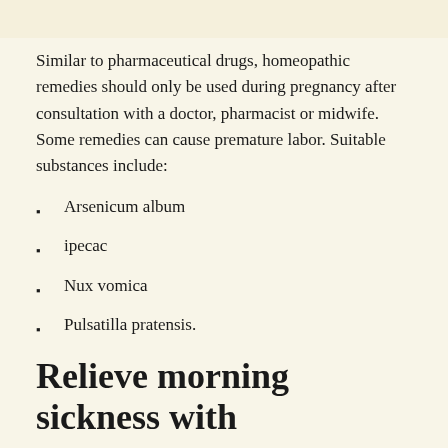Similar to pharmaceutical drugs, homeopathic remedies should only be used during pregnancy after consultation with a doctor, pharmacist or midwife. Some remedies can cause premature labor. Suitable substances include:
Arsenicum album
ipecac
Nux vomica
Pulsatilla pratensis.
Relieve morning sickness with acupuncture
Acupuncture is a branch of traditional Chinese medicine. During